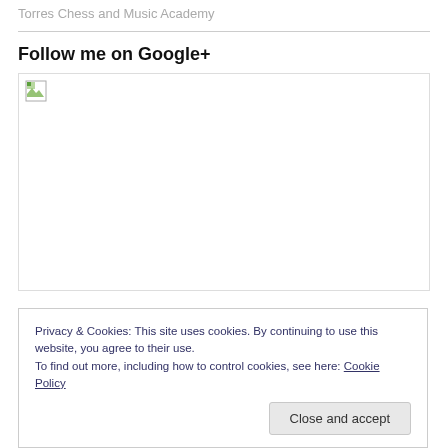Torres Chess and Music Academy
Follow me on Google+
[Figure (photo): Broken/unloaded image placeholder for Google+ follow widget]
Privacy & Cookies: This site uses cookies. By continuing to use this website, you agree to their use.
To find out more, including how to control cookies, see here: Cookie Policy
Close and accept